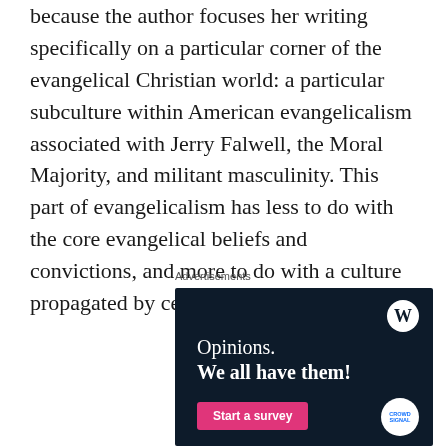because the author focuses her writing specifically on a particular corner of the evangelical Christian world: a particular subculture within American evangelicalism associated with Jerry Falwell, the Moral Majority, and militant masculinity. This part of evangelicalism has less to do with the core evangelical beliefs and convictions, and more to do with a culture propagated by certain people.
Advertisements
[Figure (other): Advertisement banner with dark navy background. WordPress logo (W in circle) in top right. Text reads 'Opinions. We all have them!' with a pink 'Start a survey' button and CrowdSignal logo at bottom right.]